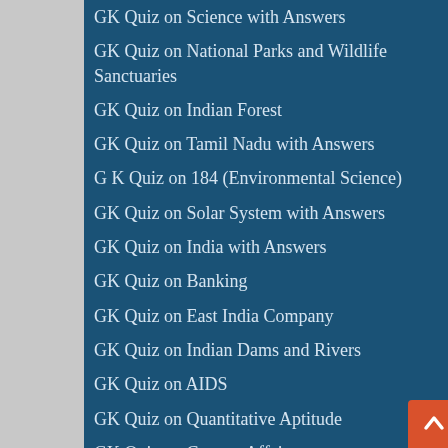GK Quiz on Science with Answers
GK Quiz on National Parks and Wildlife Sanctuaries
GK Quiz on Indian Forest
GK Quiz on Tamil Nadu with Answers
G K Quiz on 184 (Environmental Science)
GK Quiz on Solar System with Answers
GK Quiz on India with Answers
GK Quiz on Banking
GK Quiz on East India Company
GK Quiz on Indian Dams and Rivers
GK Quiz on AIDS
GK Quiz on Quantitative Aptitude
GK Quiz on Current Affairs
GK Quiz on IBPS Agriculture
GK Quiz on Karnataka with Answers
GK Quiz on Computer
GK Quiz on Sports with Answers
GK Quiz on Mahatma Gandhi with Answers
Static GK Quiz for Upcoming Exams
Static GK Quiz on Achievers (Men)